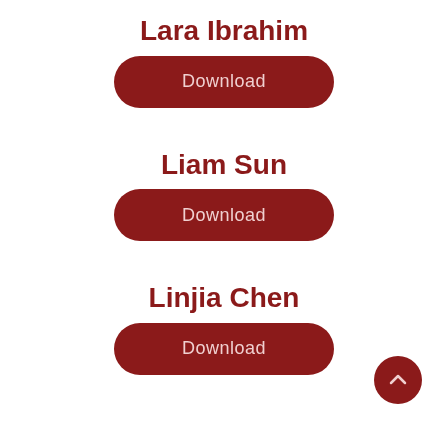Lara Ibrahim
[Figure (other): Dark red rounded pill-shaped Download button for Lara Ibrahim]
Liam Sun
[Figure (other): Dark red rounded pill-shaped Download button for Liam Sun]
Linjia Chen
[Figure (other): Dark red rounded pill-shaped Download button for Linjia Chen]
[Figure (other): Dark red circular back-to-top arrow button in bottom right corner]